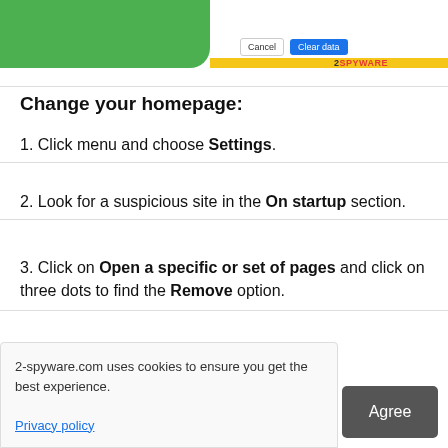[Figure (screenshot): Top portion of a browser screenshot showing a green area on the left, a dialog with Cancel and Clear data buttons, a yellow bar, and a 2SPYWARE watermark.]
Change your homepage:
1. Click menu and choose Settings.
2. Look for a suspicious site in the On startup section.
3. Click on Open a specific or set of pages and click on three dots to find the Remove option.
Reset Google Chrome:
...set Google ...onents:
2-spyware.com uses cookies to ensure you get the best experience.
Privacy policy
Agree